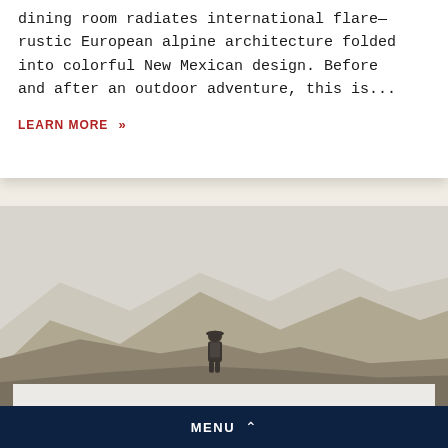dining room radiates international flare—rustic European alpine architecture folded into colorful New Mexican design. Before and after an outdoor adventure, this is...
LEARN MORE »
[Figure (photo): A person hiking on a mountain ridge, viewed from behind, with rolling mountain peaks in the background under a hazy sky.]
MENU ∧